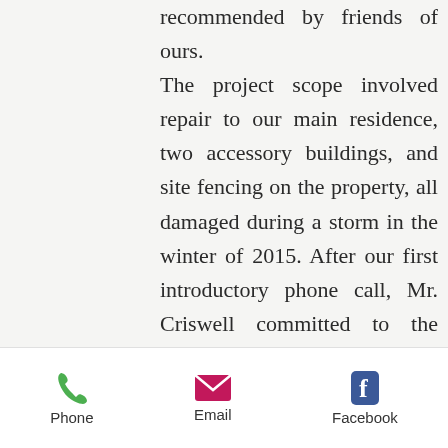recommended by friends of ours. The project scope involved repair to our main residence, two accessory buildings, and site fencing on the property, all damaged during a storm in the winter of 2015. After our first introductory phone call, Mr. Criswell committed to the project and accommodated us in his schedule. He was instrumental in immediately providing the necessary coordination with our insurance company by meeting with the adjuster on site to review...
Phone  Email  Facebook